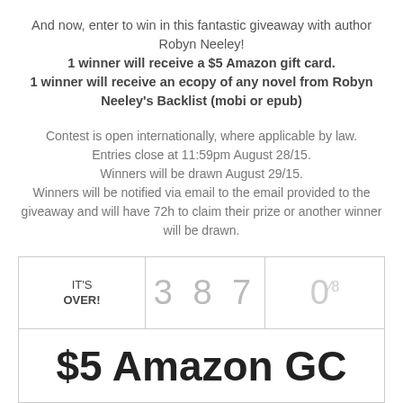And now, enter to win in this fantastic giveaway with author Robyn Neeley! 1 winner will receive a $5 Amazon gift card. 1 winner will receive an ecopy of any novel from Robyn Neeley's Backlist (mobi or epub)
Contest is open internationally, where applicable by law. Entries close at 11:59pm August 28/15. Winners will be drawn August 29/15. Winners will be notified via email to the email provided to the giveaway and will have 72h to claim their prize or another winner will be drawn.
[Figure (other): Giveaway widget showing IT'S OVER! status with 387 entries and 0/8 slots, and $5 Amazon GC prize label]